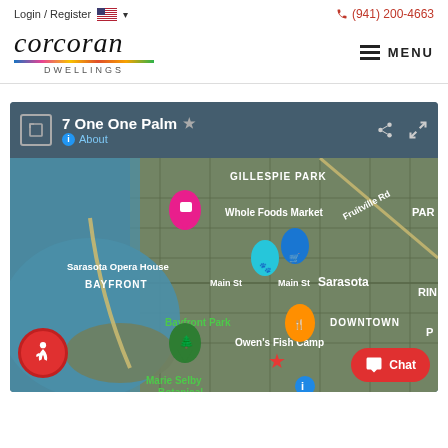Login / Register  (941) 200-4663
[Figure (logo): Corcoran Dwellings logo with italic wordmark and rainbow underline bar]
MENU
[Figure (map): Google Maps satellite view showing downtown Sarasota, FL area including Gillespie Park, Whole Foods Market, Sarasota Opera House, Bayfront, Bayfront Park, Owen's Fish Camp, Marie Selby Botanical, with a location marker for 7 One One Palm. Map header shows '7 One One Palm' with About link, share and fullscreen icons.]